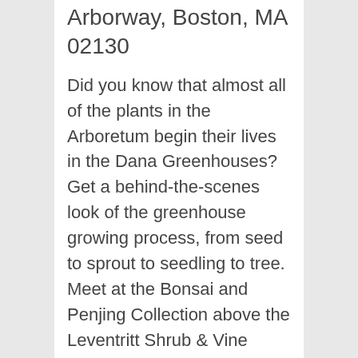Arborway, Boston, MA 02130
Did you know that almost all of the plants in the Arboretum begin their lives in the Dana Greenhouses? Get a behind-the-scenes look of the greenhouse growing process, from seed to sprout to seedling to tree. Meet at the Bonsai and Penjing Collection above the Leventritt Shrub & Vine Garden. There is a 15 person maximum.
Learn more and register for From Seed to…